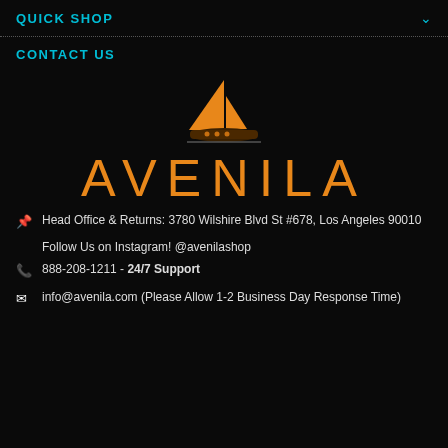QUICK SHOP
CONTACT US
[Figure (logo): Avenila logo: orange sailboat above the word AVENILA in orange letters on black background]
Head Office & Returns: 3780 Wilshire Blvd St #678, Los Angeles 90010
Follow Us on Instagram! @avenilashop
888-208-1211 - 24/7 Support
info@avenila.com (Please Allow 1-2 Business Day Response Time)